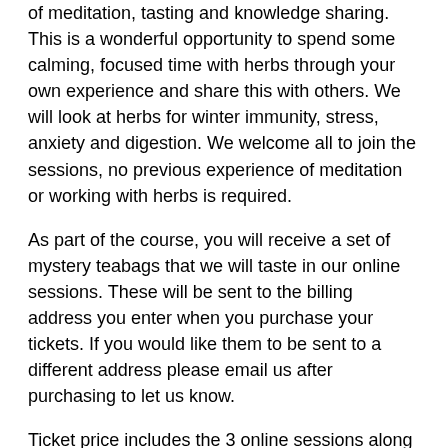of meditation, tasting and knowledge sharing. This is a wonderful opportunity to spend some calming, focused time with herbs through your own experience and share this with others. We will look at herbs for winter immunity, stress, anxiety and digestion. We welcome all to join the sessions, no previous experience of meditation or working with herbs is required.
As part of the course, you will receive a set of mystery teabags that we will taste in our online sessions. These will be sent to the billing address you enter when you purchase your tickets. If you would like them to be sent to a different address please email us after purchasing to let us know.
Ticket price includes the 3 online sessions along with your set of teabags. It also includes signposting to places where you can source materials from (for UK). From £20.00